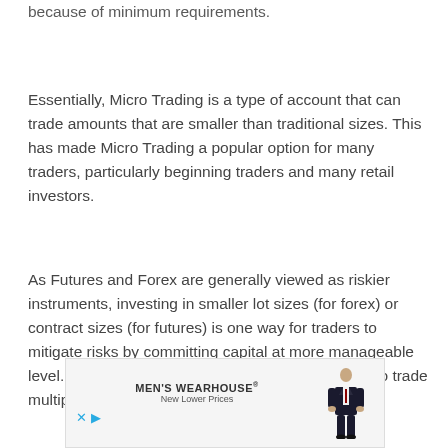because of minimum requirements.
Essentially, Micro Trading is a type of account that can trade amounts that are smaller than traditional sizes. This has made Micro Trading a popular option for many traders, particularly beginning traders and many retail investors.
As Futures and Forex are generally viewed as riskier instruments, investing in smaller lot sizes (for forex) or contract sizes (for futures) is one way for traders to mitigate risks by committing capital at more manageable level. Smaller sizes is also perfect traders wanting to trade multiple lots or contracts to scale into
[Figure (other): Men's Wearhouse advertisement banner with logo, 'New Lower Prices' tagline, and a figure of a man in a suit.]